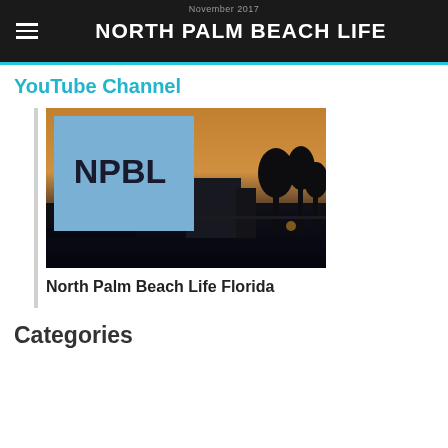NORTH PALM BEACH LIFE
YouTube Channel
[Figure (screenshot): YouTube channel thumbnail for North Palm Beach Life Florida showing NPBL logo overlay on a sunset waterfront photo with palm trees and a building silhouette]
North Palm Beach Life Florida
Categories